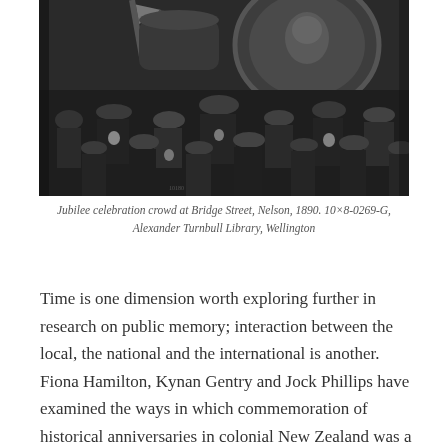[Figure (photo): Black and white photograph of a large crowd gathered at Bridge Street, Nelson in 1890 for a Jubilee celebration. A large banner or float is visible in the background. People are wearing period hats and coats.]
Jubilee celebration crowd at Bridge Street, Nelson, 1890. 10×8-0269-G, Alexander Turnbull Library, Wellington
Time is one dimension worth exploring further in research on public memory; interaction between the local, the national and the international is another. Fiona Hamilton, Kynan Gentry and Jock Phillips have examined the ways in which commemoration of historical anniversaries in colonial New Zealand was a